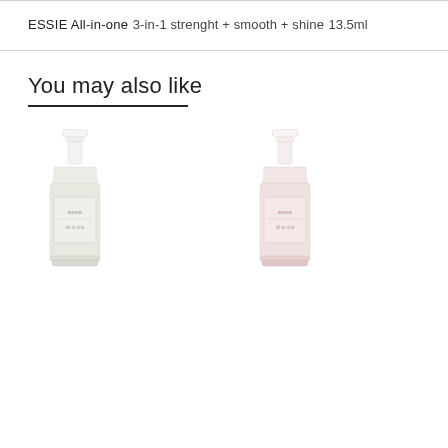ESSIE All-in-one
3-in-1 strenght + smooth + shine
13.5ml
You may also like
[Figure (photo): Two Essie nail polish bottles side by side. Left bottle contains a white/cream colored polish; right bottle contains a light pink/blush colored polish. Both have white caps.]